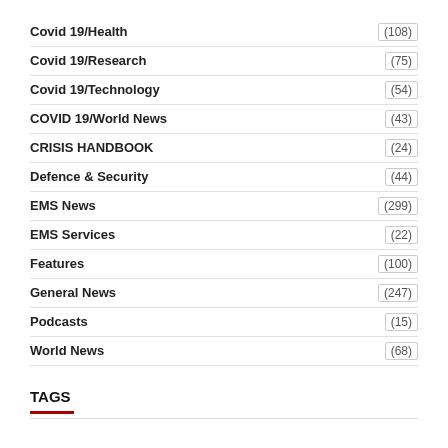Covid 19/Health (108)
Covid 19/Research (75)
Covid 19/Technology (54)
COVID 19/World News (43)
CRISIS HANDBOOK (24)
Defence & Security (44)
EMS News (299)
EMS Services (22)
Features (100)
General News (247)
Podcasts (15)
World News (68)
TAGS